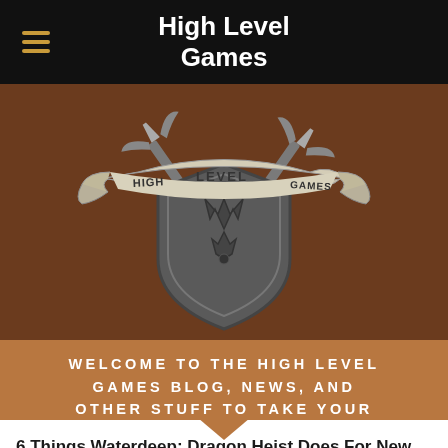High Level Games
[Figure (logo): High Level Games logo: two crossed swords behind a dark shield with flame emblem, banner reading HIGH LEVEL GAMES on a brown background]
WELCOME TO THE HIGH LEVEL GAMES BLOG, NEWS, AND OTHER STUFF TO TAKE YOUR GAMES TO THE NEXT LEVEL!
6 Things Waterdeep: Dragon Heist Does For New Dungeon Masters